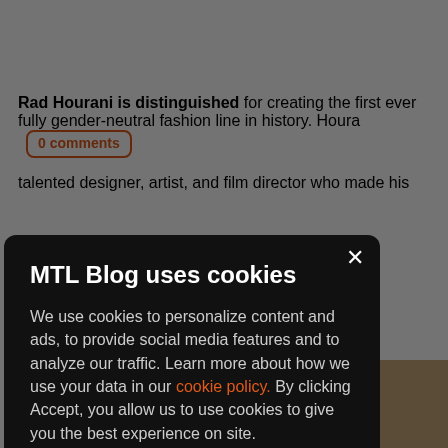Rad Hourani is distinguished for creating the first ever fully gender-neutral fashion line in history. Houra[...] talented designer, artist, and film director who made his [...] In 2013, [...] Couture [...] rs to do [...] pieces
0 comments
MTL Blog uses cookies
We use cookies to personalize content and ads, to provide social media features and to analyze our traffic. Learn more about how we use your data in our cookie policy. By clicking Accept, you allow us to use cookies to give you the best experience on site.
Accept